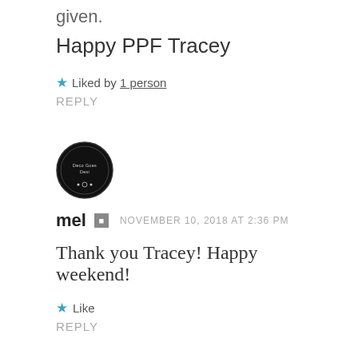given.
Happy PPF Tracey
★ Liked by 1 person
REPLY
[Figure (logo): Circular black avatar logo with text 'Deco Goes Desi']
mel  NOVEMBER 10, 2018 AT 2:36 PM
Thank you Tracey! Happy weekend!
★ Like
REPLY